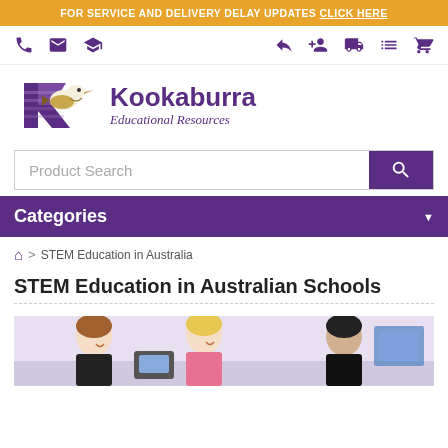FOR SERVICE AND DELIVERY DELAY UPDATES CLICK HERE
[Figure (logo): Kookaburra Educational Resources logo with kookaburra bird and stylized K letterform in purple]
Kookaburra Educational Resources
Product Search
Categories
🏠 › STEM Education in Australia
STEM Education in Australian Schools
[Figure (photo): Students and teacher working together, appears to be a STEM activity with students smiling and engaged]